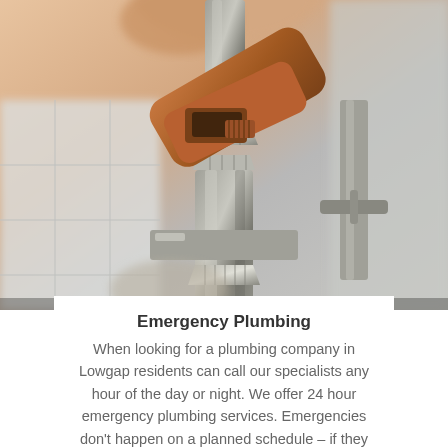[Figure (photo): Close-up photo of a wrench gripping a pipe fitting/nut, with white subway tile visible in the background. A plumber's hand is partially visible at the top holding the wrench.]
Emergency Plumbing
When looking for a plumbing company in Lowgap residents can call our specialists any hour of the day or night. We offer 24 hour emergency plumbing services. Emergencies don't happen on a planned schedule – if they did they wouldn't actually be emergencies. When a major plumbing catastrophe takes place then give us a call and we will get on the case right away! We're here when you need us, not